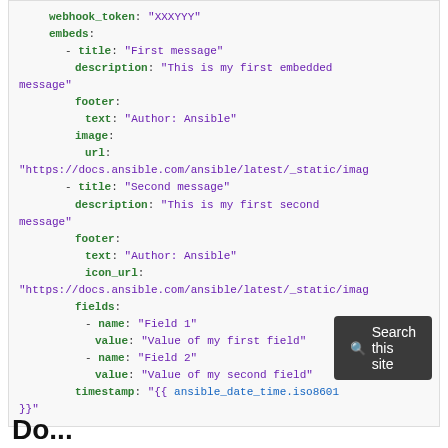webhook_token: "XXXYYY"
embeds:
    - title: "First message"
      description: "This is my first embedded message"
      footer:
        text: "Author: Ansible"
      image:
        url:
"https://docs.ansible.com/ansible/latest/_static/imag
    - title: "Second message"
      description: "This is my first second message"
      footer:
        text: "Author: Ansible"
        icon_url:
"https://docs.ansible.com/ansible/latest/_static/imag
      fields:
        - name: "Field 1"
          value: "Value of my first field"
        - name: "Field 2"
          value: "Value of my second field"
      timestamp: "{{ ansible_date_time.iso8601
}}"
Search this site